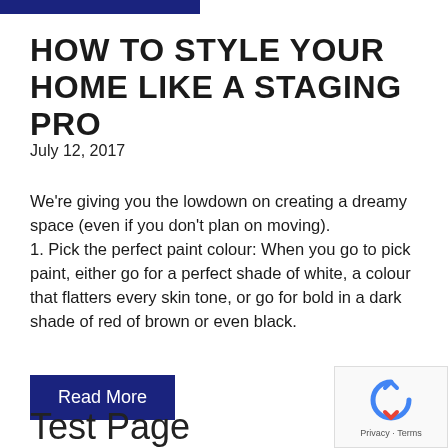HOW TO STYLE YOUR HOME LIKE A STAGING PRO
July 12, 2017
We're giving you the lowdown on creating a dreamy space (even if you don't plan on moving).
1. Pick the perfect paint colour: When you go to pick paint, either go for a perfect shade of white, a colour that flatters every skin tone, or go for bold in a dark shade of red of brown or even black.
Read More
Test Page